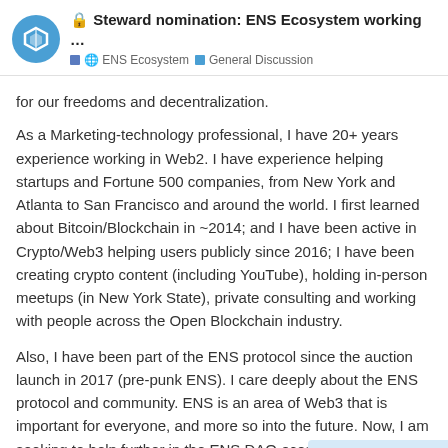Steward nomination: ENS Ecosystem working ... | 🌐 ENS Ecosystem | General Discussion
for our freedoms and decentralization.
As a Marketing-technology professional, I have 20+ years experience working in Web2. I have experience helping startups and Fortune 500 companies, from New York and Atlanta to San Francisco and around the world. I first learned about Bitcoin/Blockchain in ~2014; and I have been active in Crypto/Web3 helping users publicly since 2016; I have been creating crypto content (including YouTube), holding in-person meetups (in New York State), private consulting and working with people across the Open Blockchain industry.
Also, I have been part of the ENS protocol since the auction launch in 2017 (pre-punk ENS). I care deeply about the ENS protocol and community. ENS is an area of Web3 that is important for everyone, and more so into the future. Now, I am seeking to help further in the ENS DAO ecosystem, as part of this working group for ENS Ecosystem.
9 / 12